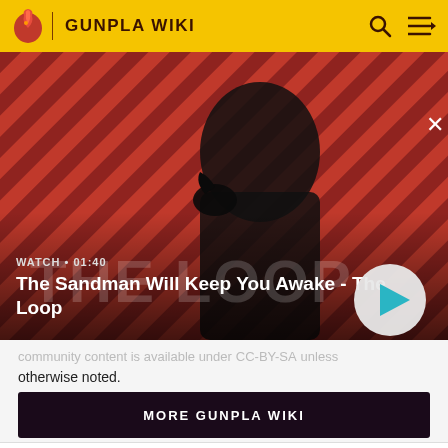GUNPLA WIKI
[Figure (screenshot): Video thumbnail showing a dark-robed figure with a crow on shoulder against a red diagonal striped background. Text overlay: WATCH • 01:40 / The Sandman Will Keep You Awake - The Loop. A circular play button on the right.]
otherwise noted.
MORE GUNPLA WIKI